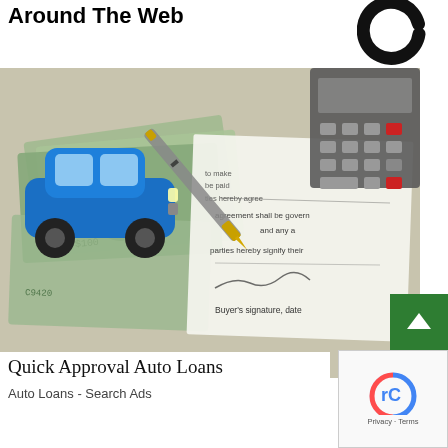Around The Web
[Figure (photo): A photo showing a blue toy car, US hundred dollar bills, a pen, a loan agreement document with 'Buyer's signature, date' text visible, and a calculator in the background — representing auto loan financing.]
Quick Approval Auto Loans
Auto Loans - Search Ads